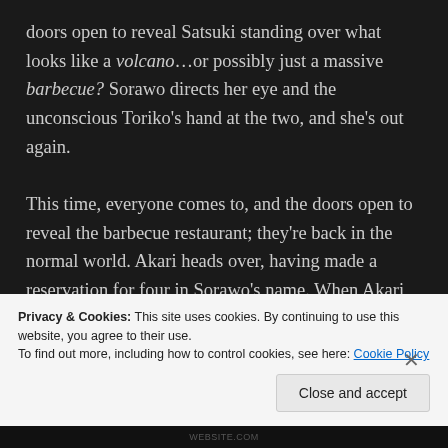doors open to reveal Satsuki standing over what looks like a volcano…or possibly just a massive barbecue? Sorawo directs her eye and the unconscious Toriko's hand at the two, and she's out again.

This time, everyone comes to, and the doors open to reveal the barbecue restaurant; they're back in the normal world. Akari heads over, having made a reservation for four in Sorawo's name. When Akari asks her what the heck just happened, Sorawo says
Privacy & Cookies: This site uses cookies. By continuing to use this website, you agree to their use.
To find out more, including how to control cookies, see here: Cookie Policy
Close and accept